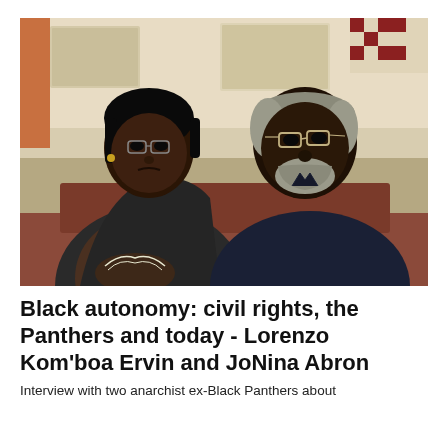[Figure (photo): Photograph of two people seated side by side in what appears to be a diner or restaurant. On the left is a woman with short dark hair and glasses wearing a dark jacket over a brown t-shirt with a graphic design. On the right is an older man with grey hair and glasses wearing a dark navy polo shirt. The background shows a kitchen or counter area with cabinets and a red-and-white checkered pattern.]
Black autonomy: civil rights, the Panthers and today - Lorenzo Kom'boa Ervin and JoNina Abron
Interview with two anarchist ex-Black Panthers about